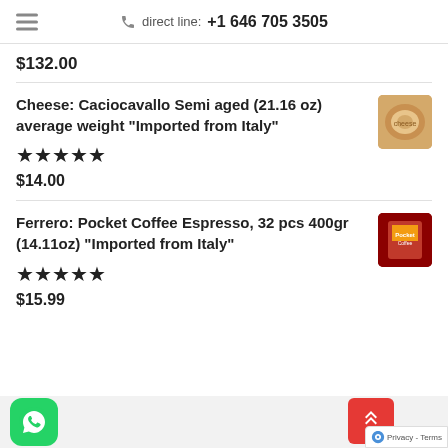direct line: +1 646 705 3505
$132.00
Cheese: Caciocavallo Semi aged (21.16 oz) average weight "Imported from Italy" ★★★★★ $14.00
Ferrero: Pocket Coffee Espresso, 32 pcs 400gr (14.11oz) "Imported from Italy" ★★★★★ $15.99